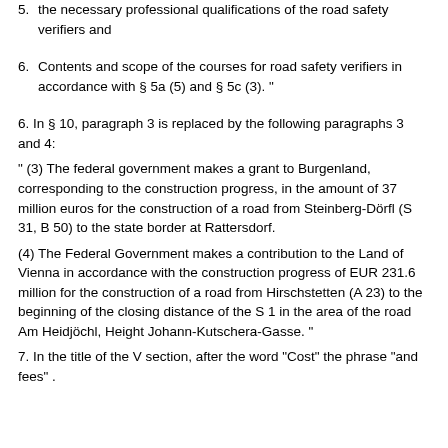5. the necessary professional qualifications of the road safety verifiers and
6. Contents and scope of the courses for road safety verifiers in accordance with § 5a (5) and § 5c (3). "
6. In § 10, paragraph 3 is replaced by the following paragraphs 3 and 4:
" (3) The federal government makes a grant to Burgenland, corresponding to the construction progress, in the amount of 37 million euros for the construction of a road from Steinberg-Dörfl (S 31, B 50) to the state border at Rattersdorf.
(4) The Federal Government makes a contribution to the Land of Vienna in accordance with the construction progress of EUR 231.6 million for the construction of a road from Hirschstetten (A 23) to the beginning of the closing distance of the S 1 in the area of the road Am Heidjöchl, Height Johann-Kutschera-Gasse. "
7. In the title of the V section, after the word "Cost" the phrase "and fees" .